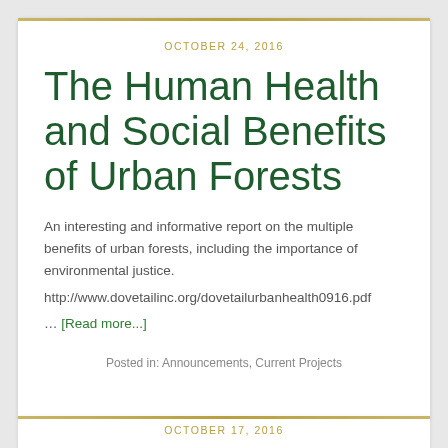OCTOBER 24, 2016
The Human Health and Social Benefits of Urban Forests
An interesting and informative report on the multiple benefits of urban forests, including the importance of environmental justice.
http://www.dovetailinc.org/dovetailurbanhealth0916.pdf
… [Read more...]
Posted in: Announcements, Current Projects
OCTOBER 17, 2016